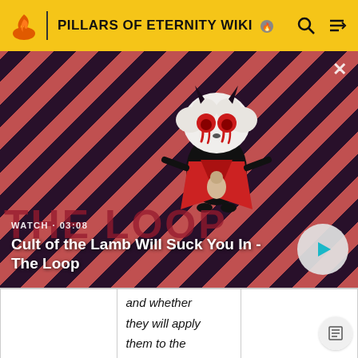PILLARS OF ETERNITY WIKI
[Figure (screenshot): Video thumbnail for 'Cult of the Lamb Will Suck You In - The Loop' showing a cartoon lamb character with red eyes on a red and dark diagonal striped background. WATCH · 03:08 label visible, with a play button on the right.]
Cult of the Lamb Will Suck You In - The Loop
|  | and whether

they will apply

them to the

same effect. |  |